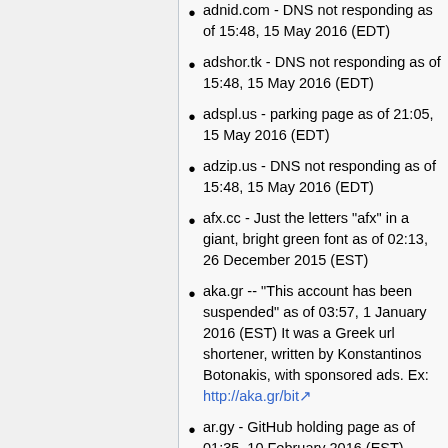adnid.com - DNS not responding as of 15:48, 15 May 2016 (EDT)
adshor.tk - DNS not responding as of 15:48, 15 May 2016 (EDT)
adspl.us - parking page as of 21:05, 15 May 2016 (EDT)
adzip.us - DNS not responding as of 15:48, 15 May 2016 (EDT)
afx.cc - Just the letters "afx" in a giant, bright green font as of 02:13, 26 December 2015 (EST)
aka.gr -- "This account has been suspended" as of 03:57, 1 January 2016 (EST) It was a Greek url shortener, written by Konstantinos Botonakis, with sponsored ads. Ex: http://aka.gr/bit
ar.gy - GitHub holding page as of 01:35, 10 February 2016 (EST)
arm.in - domain for sale as of 21:44,